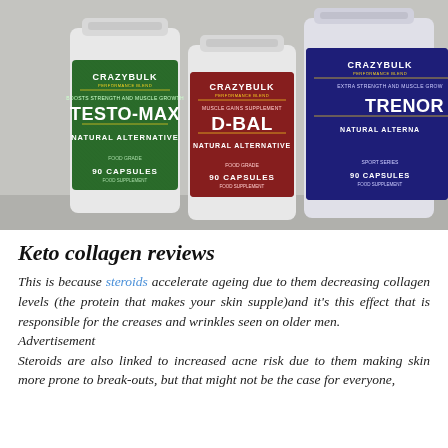[Figure (photo): Three supplement bottles from CrazyBulk brand: Testo-Max (green label, Natural Alternative, 90 Capsules), D-Bal (red/maroon label, Natural Alternative, 90 Capsules), and Trenol/Trenorol (dark blue label, Natural Alternative, 90 Capsules), photographed on a gray surface.]
Keto collagen reviews
This is because steroids accelerate ageing due to them decreasing collagen levels (the protein that makes your skin supple)and it's this effect that is responsible for the creases and wrinkles seen on older men.
Advertisement
Steroids are also linked to increased acne risk due to them making skin more prone to break-outs, but that might not be the case for everyone,